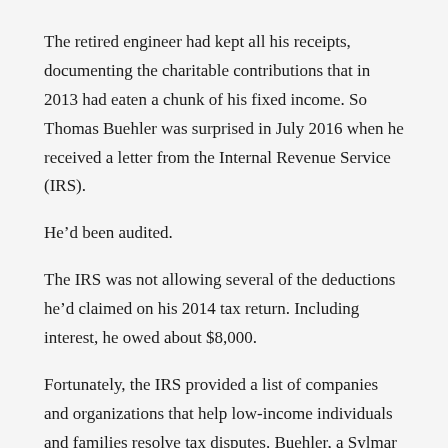The retired engineer had kept all his receipts, documenting the charitable contributions that in 2013 had eaten a chunk of his fixed income. So Thomas Buehler was surprised in July 2016 when he received a letter from the Internal Revenue Service (IRS).
He’d been audited.
The IRS was not allowing several of the deductions he’d claimed on his 2014 tax return. Including interest, he owed about $8,000.
Fortunately, the IRS provided a list of companies and organizations that help low-income individuals and families resolve tax disputes. Buehler, a Sylmar resident, was drawn to one in particular: the Bookstein Low Income Taxpayer Clinic at California State University, Northridge.
“First of all, it’s close to where I live. I am 85 years old — I don’t like to drive too much,” said Buehler (CSUN Today is using a